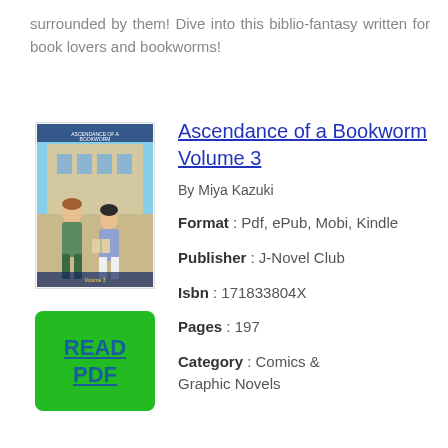surrounded by them! Dive into this biblio-fantasy written for book lovers and bookworms!
Ascendance of a Bookworm Volume 3
By Miya Kazuki
[Figure (illustration): Book cover of Ascendance of a Bookworm Volume 3 showing anime-style characters]
READ PDF
Format : Pdf, ePub, Mobi, Kindle
Publisher : J-Novel Club
Isbn : 171833804X
Pages : 197
Category : Comics & Graphic Novels